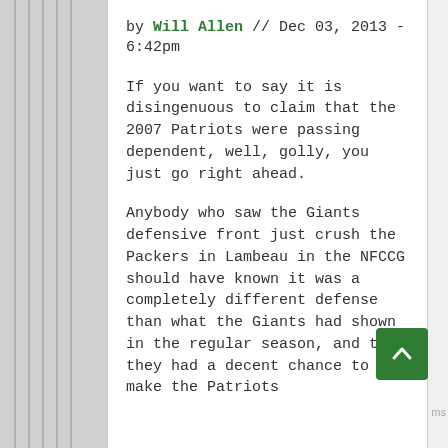by Will Allen // Dec 03, 2013 - 6:42pm
If you want to say it is disingenuous to claim that the 2007 Patriots were passing dependent, well, golly, you just go right ahead.
Anybody who saw the Giants defensive front just crush the Packers in Lambeau in the NFCCG should have known it was a completely different defense than what the Giants had shown in the regular season, and that they had a decent chance to make the Patriots